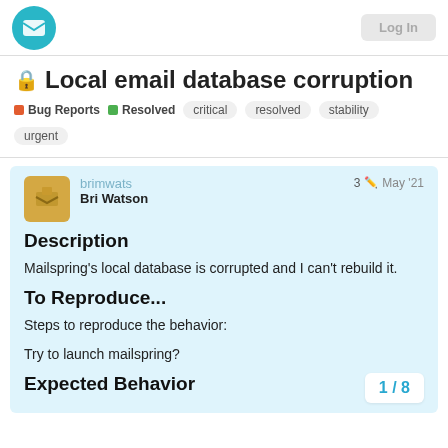Mailspring forum header with logo and Login button
🔒 Local email database corruption
Bug Reports  Resolved  critical  resolved  stability  urgent
brimwats  Bri Watson  3  May '21
Description
Mailspring's local database is corrupted and I can't rebuild it.
To Reproduce...
Steps to reproduce the behavior:
Try to launch mailspring?
Expected Behavior
1 / 8